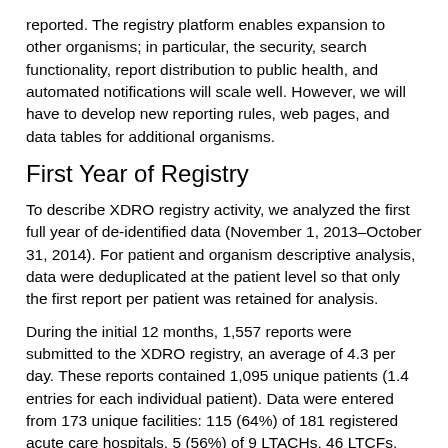reported. The registry platform enables expansion to other organisms; in particular, the security, search functionality, report distribution to public health, and automated notifications will scale well. However, we will have to develop new reporting rules, web pages, and data tables for additional organisms.
First Year of Registry
To describe XDRO registry activity, we analyzed the first full year of de-identified data (November 1, 2013–October 31, 2014). For patient and organism descriptive analysis, data were deduplicated at the patient level so that only the first report per patient was retained for analysis.
During the initial 12 months, 1,557 reports were submitted to the XDRO registry, an average of 4.3 per day. These reports contained 1,095 unique patients (1.4 entries for each individual patient). Data were entered from 173 unique facilities: 115 (64%) of 181 registered acute care hospitals, 5 (56%) of 9 LTACHs, 46 LTCFs, and 7